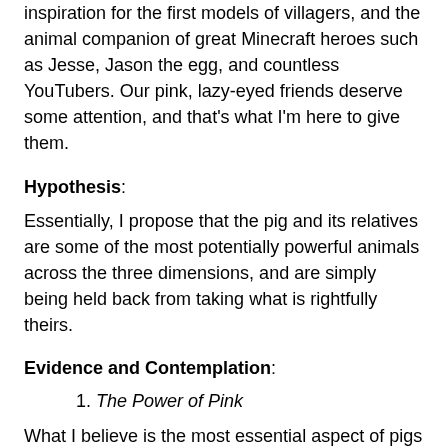inspiration for the first models of villagers, and the animal companion of great Minecraft heroes such as Jesse, Jason the egg, and countless YouTubers. Our pink, lazy-eyed friends deserve some attention, and that's what I'm here to give them.
Hypothesis:
Essentially, I propose that the pig and its relatives are some of the most potentially powerful animals across the three dimensions, and are simply being held back from taking what is rightfully theirs.
Evidence and Contemplation:
The Power of Pink
What I believe is the most essential aspect of pigs to understand when it comes to this theory is that they're highly adaptive. When being bred, they can accept three different items, (carrots, potatoes, or beetroots), while all others but tamed wolves can only accept one or two (excluding seed and golden food variants). While a diverse diet alone isn't enough to declare them the rightful rulers of all, it's a good observation to build off.